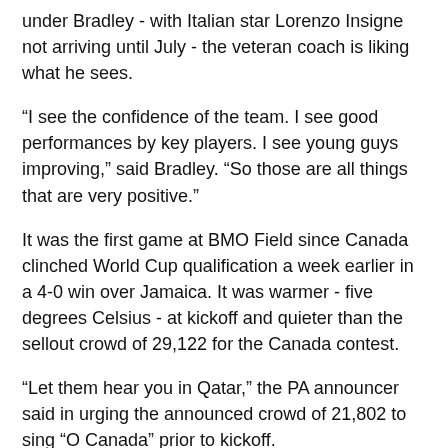under Bradley - with Italian star Lorenzo Insigne not arriving until July - the veteran coach is liking what he sees.
“I see the confidence of the team. I see good performances by key players. I see young guys improving,” said Bradley. “So those are all things that are very positive.”
It was the first game at BMO Field since Canada clinched World Cup qualification a week earlier in a 4-0 win over Jamaica. It was warmer - five degrees Celsius - at kickoff and quieter than the sellout crowd of 29,122 for the Canada contest.
“Let them hear you in Qatar,” the PA announcer said in urging the announced crowd of 21,802 to sing “O Canada” prior to kickoff.
Toronto grew into the game and went ahead in the 31st minute when Jonathan Osorio’s through ball split the visitors’ defence en route to an unmarked Jimenez, who beat Sean